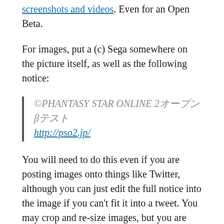screenshots and videos. Even for an Open Beta.
For images, put a (c) Sega somewhere on the picture itself, as well as the following notice:
©PHANTASY STAR ONLINE 2オープンβテスト http://pso2.jp/
You will need to do this even if you are posting images onto things like Twitter, although you can just edit the full notice into the image if you can't fit it into a tweet. You may crop and re-size images, but you are forbidden from editing the picture significantly.
For videos, you'll need to edit a (c) Sega at the